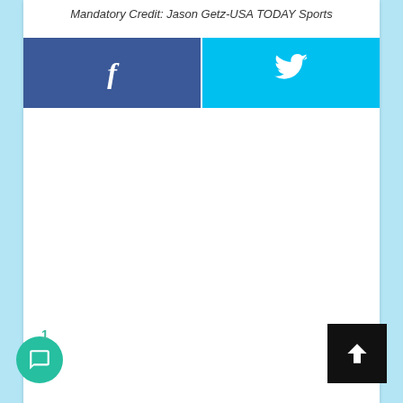Mandatory Credit: Jason Getz-USA TODAY Sports
[Figure (other): Facebook share button (dark blue) and Twitter share button (cyan) side by side]
[Figure (other): Chat bubble button with badge number 1, and scroll-to-top button (black with up arrow)]